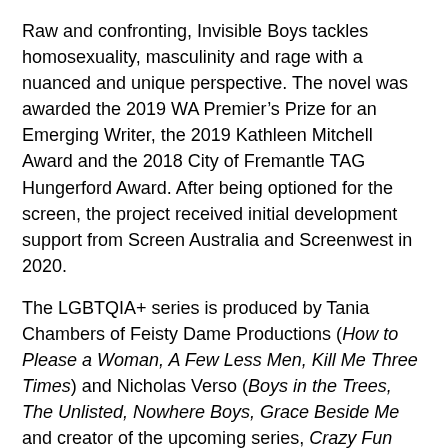Raw and confronting, Invisible Boys tackles homosexuality, masculinity and rage with a nuanced and unique perspective. The novel was awarded the 2019 WA Premier's Prize for an Emerging Writer, the 2019 Kathleen Mitchell Award and the 2018 City of Fremantle TAG Hungerford Award. After being optioned for the screen, the project received initial development support from Screen Australia and Screenwest in 2020.
The LGBTQIA+ series is produced by Tania Chambers of Feisty Dame Productions (How to Please a Woman, A Few Less Men, Kill Me Three Times) and Nicholas Verso (Boys in the Trees, The Unlisted, Nowhere Boys, Grace Beside Me and creator of the upcoming series, Crazy Fun Park). Verso previously collaborated on the first series of the ABC ME series, Itch. Verso will also write the adaptation and direct the 10 episode project.
The novel was awarded the 2019 WA Premier's Prize for an Emerging Writer, the 2019 Kathleen Mitchell Award and the 2018 City of Fremantle TAG Hungerford Award. After being optioned for the screen, the project received initial development support from Screen Australia and